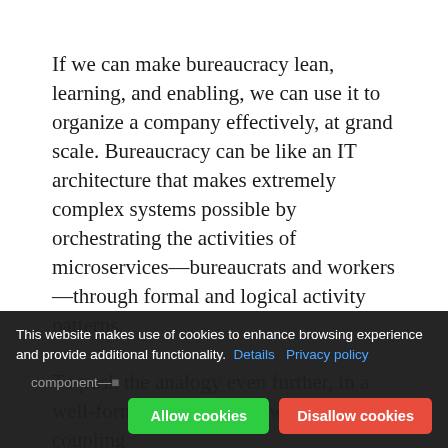If we can make bureaucracy lean, learning, and enabling, we can use it to organize a company effectively, at grand scale. Bureaucracy can be like an IT architecture that makes extremely complex systems possible by orchestrating the activities of microservices—bureaucrats and workers—through formal and logical activity patterns.
To push the analogy even further, in a well-formed bureaucracy we use loose coupling
This website makes use of cookies to enhance browsing experience and provide additional functionality. Details Privacy policy
component— [partially obscured] d